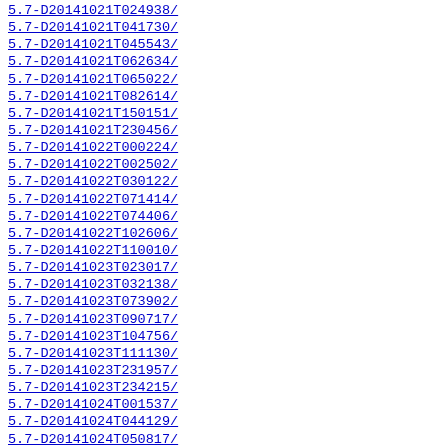5.7-D20141021T024938/
5.7-D20141021T041730/
5.7-D20141021T045543/
5.7-D20141021T062634/
5.7-D20141021T065022/
5.7-D20141021T082614/
5.7-D20141021T150151/
5.7-D20141021T230456/
5.7-D20141022T000224/
5.7-D20141022T002502/
5.7-D20141022T030122/
5.7-D20141022T071414/
5.7-D20141022T074406/
5.7-D20141022T102606/
5.7-D20141022T110010/
5.7-D20141023T023017/
5.7-D20141023T032138/
5.7-D20141023T073902/
5.7-D20141023T090717/
5.7-D20141023T104756/
5.7-D20141023T111130/
5.7-D20141023T231957/
5.7-D20141023T234215/
5.7-D20141024T001537/
5.7-D20141024T044129/
5.7-D20141024T050817/
5.7-D20141024T070803/
5.7-D20141028T024403/
5.7-D20141028T050145/
5.7-D20141028T205017/